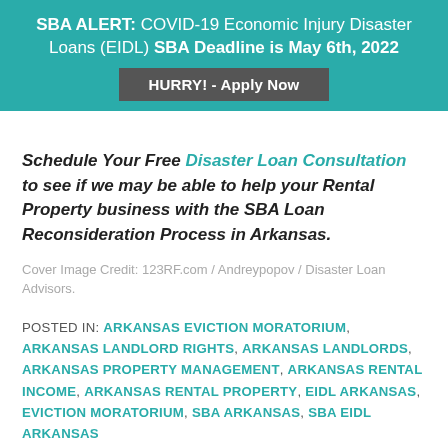SBA ALERT: COVID-19 Economic Injury Disaster Loans (EIDL) SBA Deadline is May 6th, 2022
HURRY! - Apply Now
Schedule Your Free Disaster Loan Consultation to see if we may be able to help your Rental Property business with the SBA Loan Reconsideration Process in Arkansas.
Cover Image Credit: 123RF.com / Andreypopov / Disaster Loan Advisors.
POSTED IN: ARKANSAS EVICTION MORATORIUM, ARKANSAS LANDLORD RIGHTS, ARKANSAS LANDLORDS, ARKANSAS PROPERTY MANAGEMENT, ARKANSAS RENTAL INCOME, ARKANSAS RENTAL PROPERTY, EIDL ARKANSAS, EVICTION MORATORIUM, SBA ARKANSAS, SBA EIDL ARKANSAS